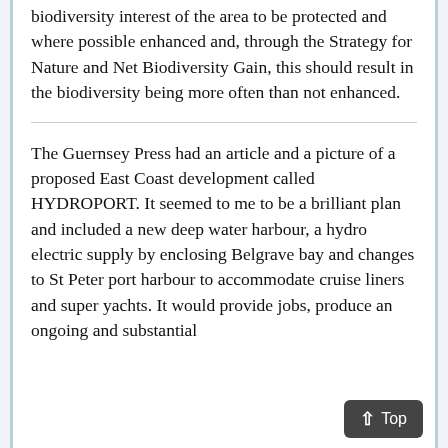biodiversity interest of the area to be protected and where possible enhanced and, through the Strategy for Nature and Net Biodiversity Gain, this should result in the biodiversity being more often than not enhanced.
The Guernsey Press had an article and a picture of a proposed East Coast development called HYDROPORT. It seemed to me to be a brilliant plan and included a new deep water harbour, a hydro electric supply by enclosing Belgrave bay and changes to St Peter port harbour to accommodate cruise liners and super yachts. It would provide jobs, produce an ongoing and substantial